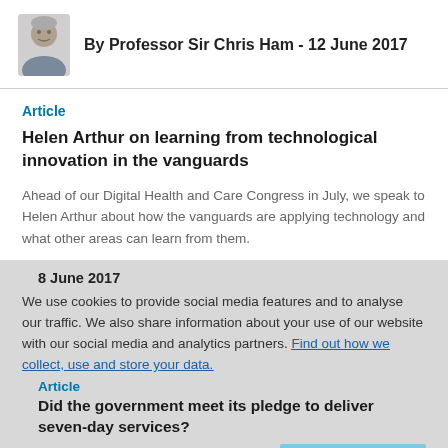By Professor Sir Chris Ham - 12 June 2017
Article
Helen Arthur on learning from technological innovation in the vanguards
Ahead of our Digital Health and Care Congress in July, we speak to Helen Arthur about how the vanguards are applying technology and what other areas can learn from them.
8 June 2017
We use cookies to provide social media features and to analyse our traffic. We also share information about your use of our website with our social media and analytics partners. Find out how we collect, use and store your data.
Article
Did the government meet its pledge to deliver seven-day services?